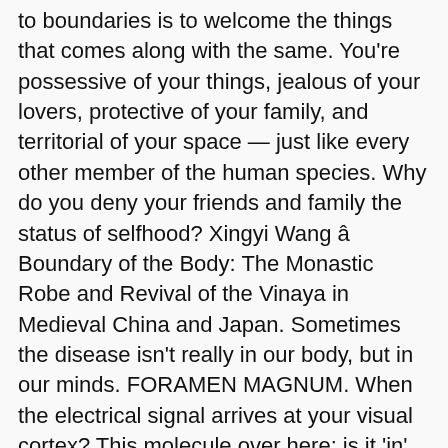to boundaries is to welcome the things that comes along with the same. You're possessive of your things, jealous of your lovers, protective of your family, and territorial of your space — just like every other member of the human species. Why do you deny your friends and family the status of selfhood? Xingyi Wang â Boundary of the Body: The Monastic Robe and Revival of the Vinaya in Medieval China and Japan. Sometimes the disease isn't really in our body, but in our minds. FORAMEN MAGNUM. When the electrical signal arrives at your visual cortex? This molecule over here: is it 'in' or 'out' of the eddy? The axilla (also, armpit, underarm or oxter) is the area on the human body directly under the joint where the arm connects to the shoulder.It also contains many sweat glands.. Boundaries can vary on various accounts and can include but are not limited to psychological, physical, conceptual, universal, socio-cultural, etc. How intertwined do the fates of two symbionts have to be before you'll consider them a single organism? An adult human body is composed of about 100,000,000,000,000 cells! Why is hair-trapped oxygen excluded from the body, while hemoglobin-trapped